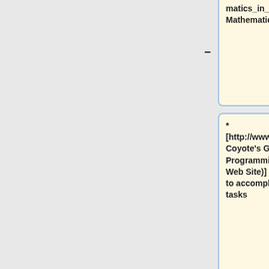matics_in_IDL.html Overview of Mathematics in IDL]
* [http://www.dfanning.com/ Coyote's Guide to IDL Programming (David Fanning's Web Site)] - Lots of tips on how to accomplish programming tasks
* [http://www.mpimet.mpg.de/en/misc/software/idl IDL Page at